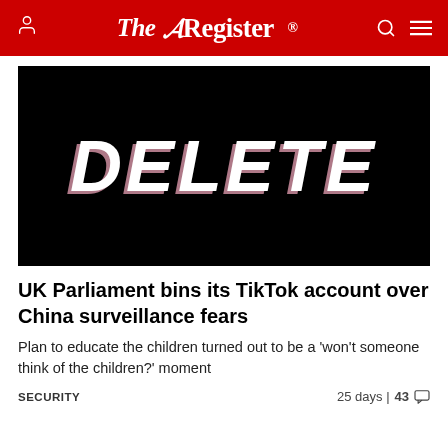The Register
[Figure (photo): Black background with large white bold italic text reading DELETE, with a slight pink/red chromatic aberration effect behind it]
UK Parliament bins its TikTok account over China surveillance fears
Plan to educate the children turned out to be a 'won't someone think of the children?' moment
SECURITY   25 days | 43 comments